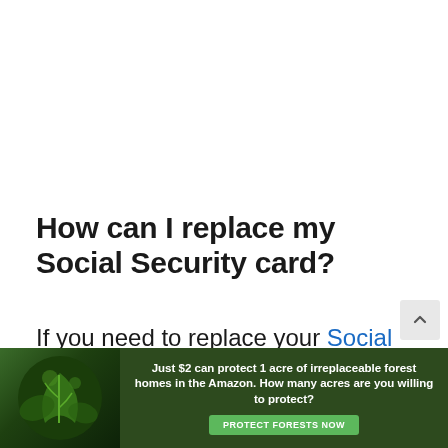How can I replace my Social Security card?
If you need to replace your Social Security card, the process is quite simple. If you have already created a My
[Figure (other): Advertisement banner for Amazon forest protection. Green background with forest/leaf imagery on the left. Text reads: 'Just $2 can protect 1 acre of irreplaceable forest homes in the Amazon. How many acres are you willing to protect?' with a green 'PROTECT FORESTS NOW' button.]